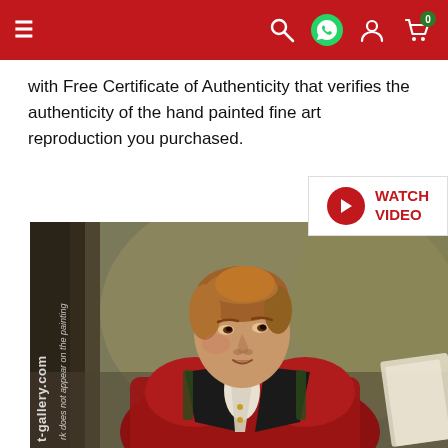Navigation header with menu icon, search, WhatsApp, user, and cart icons
with Free Certificate of Authenticity that verifies the authenticity of the hand painted fine art reproduction you purchased.
[Figure (other): Watch Video button with red play circle icon and red text 'WATCH VIDEO' on white background]
[Figure (photo): Classical oil painting portrait of a young man with auburn hair wearing a red military coat with black lapels and a white cravat, holding papers. Watermark text 't-gallery.com' and 'rk does not appear on the painting' visible vertically on left side.]